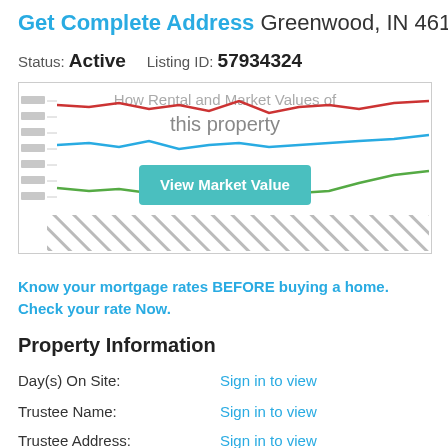Get Complete Address Greenwood, IN 46142
Status: Active   Listing ID: 57934324
[Figure (line-chart): Blurred line chart showing Rental and Market Values of this property with three lines (red, blue, green) over time. A 'View Market Value' button overlaid in the center.]
Know your mortgage rates BEFORE buying a home. Check your rate Now.
Property Information
Day(s) On Site:   Sign in to view
Trustee Name:   Sign in to view
Trustee Address:   Sign in to view